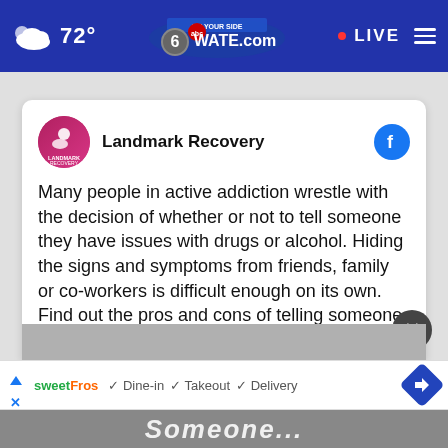72° WATE.com LIVE
[Figure (screenshot): Landmark Recovery Facebook post card showing text about addiction disclosure, with the Landmark Recovery logo, Facebook icon, and a 'See More' link.]
Many people in active addiction wrestle with the decision of whether or not to tell someone they have issues with drugs or alcohol. Hiding the signs and symptoms from friends, family or co-workers is difficult enough on its own. Find out the pros and cons of telling someone about your addiction:... See More
[Figure (screenshot): Advertisement bar from sweetFrog showing Dine-in, Takeout, and Delivery options with a navigation icon.]